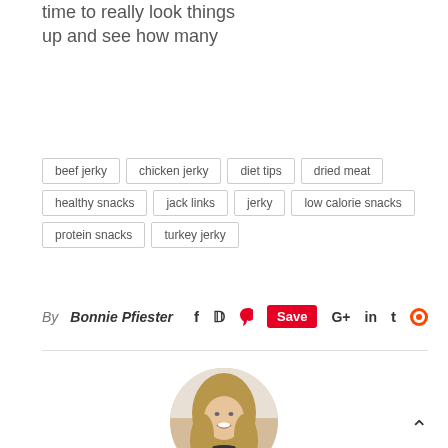time to really look things up and see how many
beef jerky
chicken jerky
diet tips
dried meat
healthy snacks
jack links
jerky
low calorie snacks
protein snacks
turkey jerky
By Bonnie Pfiester
[Figure (photo): Circular profile photo of Bonnie Pfiester, a woman with long blonde hair smiling]
BONNIE PFIESTER
Owner of Lift Vero and motivational "pfitness, pfood and pfaith" blogger in Vero Beach, Florida.